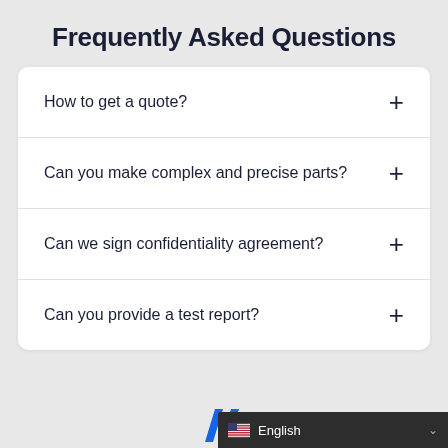Frequently Asked Questions
How to get a quote?
Can you make complex and precise parts?
Can we sign confidentiality agreement?
Can you provide a test report?
English